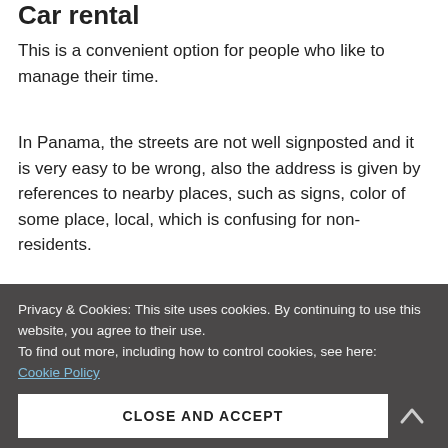Car rental
This is a convenient option for people who like to manage their time.
In Panama, the streets are not well signposted and it is very easy to be wrong, also the address is given by references to nearby places, such as signs, color of some place, local, which is confusing for non-residents.
Privacy & Cookies: This site uses cookies. By continuing to use this website, you agree to their use.
To find out more, including how to control cookies, see here: Cookie Policy
CLOSE AND ACCEPT